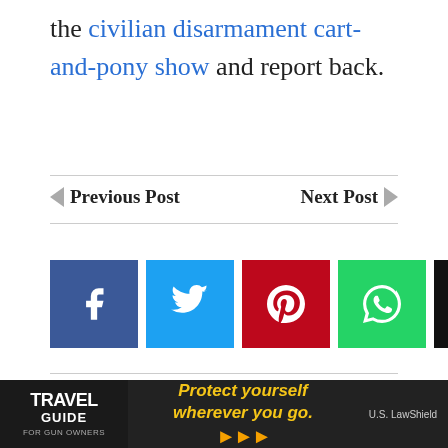the civilian disarmament cart-and-pony show and report back.
◄ Previous Post    Next Post ►
[Figure (infographic): Social share buttons: Facebook (blue), Twitter (light blue), Pinterest (red), WhatsApp (green), Email (black)]
Previous article
Next article
Quote of the Day: Gun Control
BREAKING: Remington Bails for Alabama
[Figure (illustration): Travel Guide for Gun Owners advertisement banner: dark background with text 'Protect yourself wherever you go.' with orange arrow logos and U.S. LawShield branding]